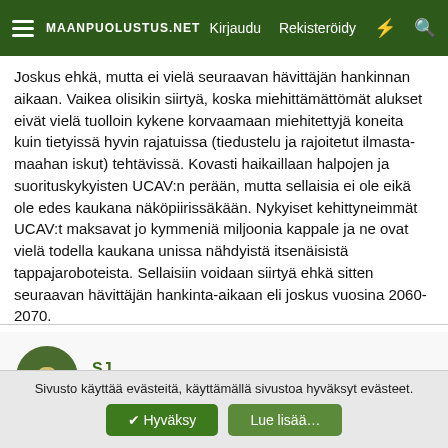MAANPUOLUSTUS.NET — Kirjaudu  Rekisteröidy
Joskus ehkä, mutta ei vielä seuraavan hävittäjän hankinnan aikaan. Vaikea olisikin siirtyä, koska miehittämättömät alukset eivät vielä tuolloin kykene korvaamaan miehitettyjä koneita kuin tietyissä hyvin rajatuissa (tiedustelu ja rajoitetut ilmasta-maahan iskut) tehtävissä. Kovasti haikaillaan halpojen ja suorituskykyisten UCAV:n perään, mutta sellaisia ei ole eikä ole edes kaukana näköpiirissäkään. Nykyiset kehittyneimmät UCAV:t maksavat jo kymmeniä miljoonia kappale ja ne ovat vielä todella kaukana unissa nähdyistä itsenäisistä tappajaroboteista. Sellaisiin voidaan siirtyä ehkä sitten seuraavan hävittäjän hankinta-aikaan eli joskus vuosina 2060-2070.
SJ
Supreme Leader